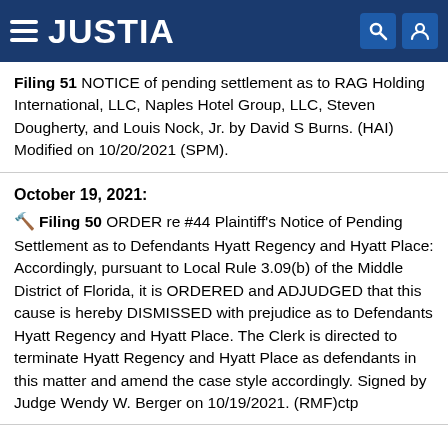JUSTIA
Filing 51  NOTICE of pending settlement as to RAG Holding International, LLC, Naples Hotel Group, LLC, Steven Dougherty, and Louis Nock, Jr. by David S Burns. (HAI) Modified on 10/20/2021 (SPM).
October 19, 2021:
Filing 50  ORDER re #44 Plaintiff’s Notice of Pending Settlement as to Defendants Hyatt Regency and Hyatt Place: Accordingly, pursuant to Local Rule 3.09(b) of the Middle District of Florida, it is ORDERED and ADJUDGED that this cause is hereby DISMISSED with prejudice as to Defendants Hyatt Regency and Hyatt Place. The Clerk is directed to terminate Hyatt Regency and Hyatt Place as defendants in this matter and amend the case style accordingly. Signed by Judge Wendy W. Berger on 10/19/2021. (RMF)ctp